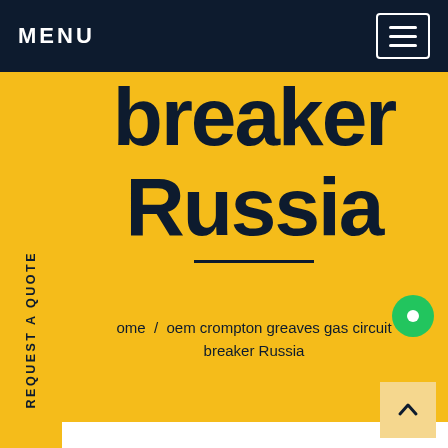MENU
breaker Russia
ome / oem crompton greaves gas circuit breaker Russia
REQUEST A QUOTE